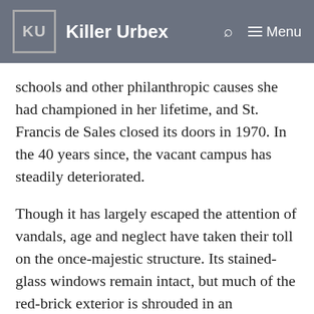KU Killer Urbex
schools and other philanthropic causes she had championed in her lifetime, and St. Francis de Sales closed its doors in 1970. In the 40 years since, the vacant campus has steadily deteriorated.
Though it has largely escaped the attention of vandals, age and neglect have taken their toll on the once-majestic structure. Its stained-glass windows remain intact, but much of the red-brick exterior is shrouded in an overgrowth of ivy. Portions of the ceiling and interior walls have begun to crumble, and its floors are faded and scarred.